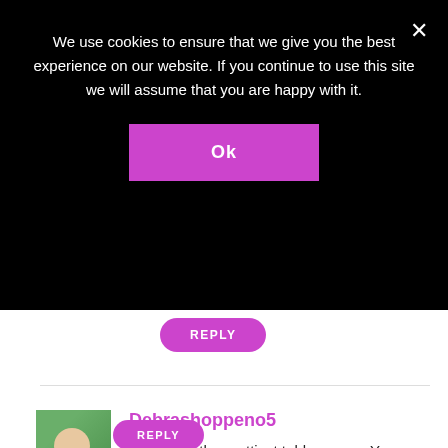We use cookies to ensure that we give you the best experience on our website. If you continue to use this site we will assume that you are happy with it.
Ok
REPLY
[Figure (photo): Profile photo of a woman with blonde hair wearing a blue top, photographed outdoors with green background]
Debrashoppeno5
You make the prettiest tablescapes. You have the knack to pull it all together and it looks effortless.
REPLY